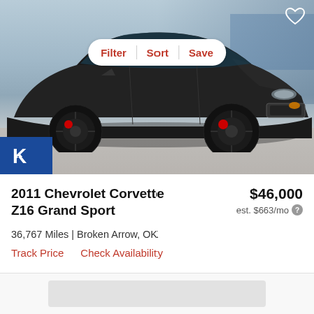[Figure (photo): Black 2011 Chevrolet Corvette Z16 Grand Sport sports car parked at a dealership, photographed from a front three-quarter angle on a concrete surface. A blue dealer badge is visible at the bottom left of the image.]
Filter | Sort | Save
2011 Chevrolet Corvette Z16 Grand Sport
$46,000
est. $663/mo
36,767 Miles | Broken Arrow, OK
Track Price
Check Availability